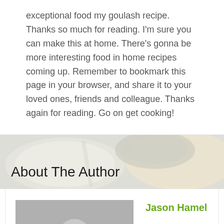exceptional food my goulash recipe. Thanks so much for reading. I'm sure you can make this at home. There's gonna be more interesting food in home recipes coming up. Remember to bookmark this page in your browser, and share it to your loved ones, friends and colleague. Thanks again for reading. Go on get cooking!
About The Author
[Figure (illustration): Generic grey avatar/placeholder person silhouette image]
Jason Hamel